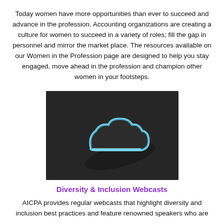Today women have more opportunities than ever to succeed and advance in the profession. Accounting organizations are creating a culture for women to succeed in a variety of roles; fill the gap in personnel and mirror the market place. The resources available on our Women in the Profession page are designed to help you stay engaged, move ahead in the profession and champion other women in your footsteps.
[Figure (photo): A neon blue cloud icon shape on a dark chalkboard background]
Diversity & Inclusion Webcasts
AICPA provides regular webcasts that highlight diversity and inclusion best practices and feature renowned speakers who are